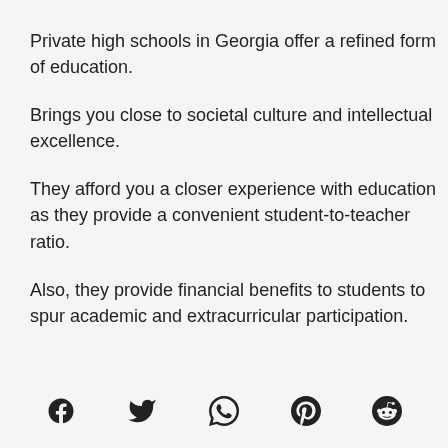Private high schools in Georgia offer a refined form of education.
Brings you close to societal culture and intellectual excellence.
They afford you a closer experience with education as they provide a convenient student-to-teacher ratio.
Also, they provide financial benefits to students to spur academic and extracurricular participation.
[Figure (other): Social media share icons: Facebook, Twitter, WhatsApp, Pinterest, Reddit]